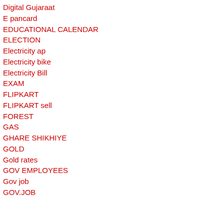Digital Gujaraat
E pancard
EDUCATIONAL CALENDAR
ELECTION
Electricity ap
Electricity bike
Electricity Bill
EXAM
FLIPKART
FLIPKART sell
FOREST
GAS
GHARE SHIKHIYE
GOLD
Gold rates
GOV EMPLOYEES
Gov job
GOV.JOB